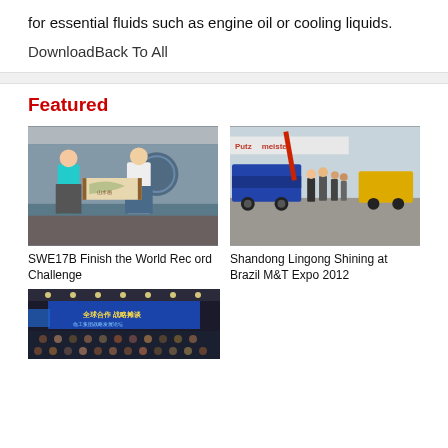for essential fluids such as engine oil or cooling liquids.
DownloadBack To All
Featured
[Figure (photo): Two men holding a traditional Chinese painting scroll at an indoor event]
SWE17B Finish the World Record Challenge
[Figure (photo): Group of businessmen walking at an outdoor construction equipment expo, Putzmeister branded equipment visible]
Shandong Lingong Shining at Brazil M&T Expo 2012
[Figure (photo): Conference hall with audience seated and a large banner stage backdrop with Chinese text]